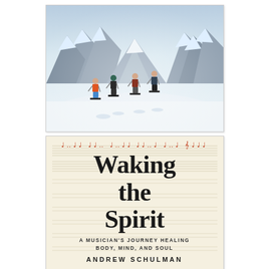[Figure (photo): Four skiers viewed from behind, skiing down a snowy mountain slope with dramatic snow-covered rocky peaks in the background. The skiers are wearing colorful winter gear.]
[Figure (illustration): Book cover for 'Waking the Spirit: A Musician's Journey Healing Body, Mind, and Soul' by Andrew Schulman. Cream/off-white background with horizontal staff lines, decorative red music notation symbols at the top, large serif title text, small subtitle in caps, and author name at bottom.]